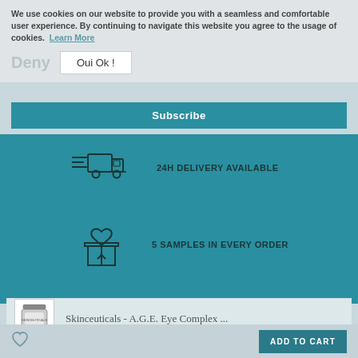We use cookies on our website to provide you with a seamless and comfortable user experience. By continuing to navigate this website you agree to the usage of cookies. Learn More
Deny
Oui Ok !
Subscribe
24H DELIVERY AVAILABLE
[Figure (illustration): Delivery truck icon with speed lines]
5 SAMPLES IN EVERY ORDER
[Figure (illustration): Box with heart icon representing gift/samples]
Skinceuticals - A.G.E. Eye Complex ...
[Figure (photo): Small product image of Skinceuticals A.G.E. Eye Complex jar]
ADD TO CART